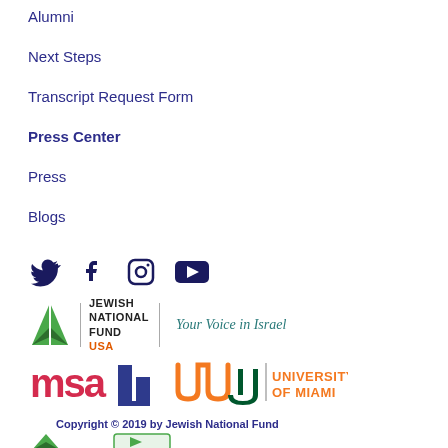Alumni
Next Steps
Transcript Request Form
Press Center
Press
Blogs
[Figure (logo): Social media icons: Twitter, Facebook, Instagram, YouTube]
[Figure (logo): Jewish National Fund USA - Your Voice in Israel logo]
[Figure (logo): MSA and University of Miami logos]
Copyright © 2019 by Jewish National Fund
[Figure (logo): Partial logos at bottom]